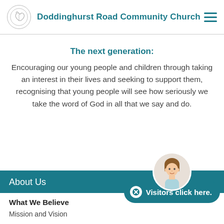Doddinghurst Road Community Church
The next generation:
Encouraging our young people and children through taking an interest in their lives and seeking to support them, recognising that young people will see how seriously we take the word of God in all that we say and do.
About Us
What We Believe
Mission and Vision
[Figure (illustration): Circular avatar illustration of a person with brown hair, used as visitor greeter widget]
Visitors click here.